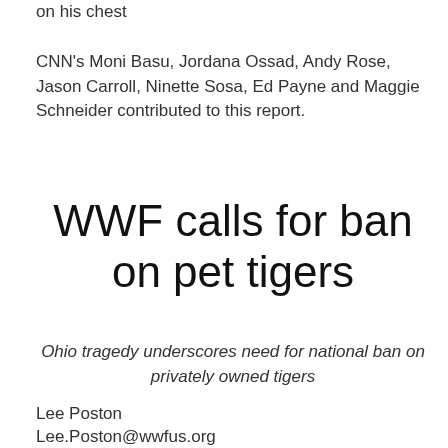on his chest
CNN's Moni Basu, Jordana Ossad, Andy Rose, Jason Carroll, Ninette Sosa, Ed Payne and Maggie Schneider contributed to this report.
WWF calls for ban on pet tigers
Ohio tragedy underscores need for national ban on privately owned tigers
Lee Poston
Lee.Poston@wwfus.org
(202) 309-6442